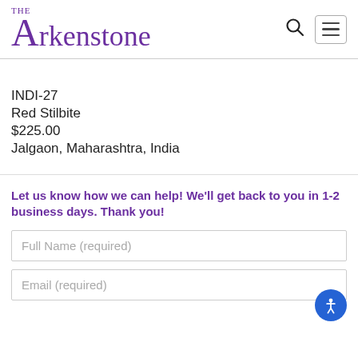THE Arkenstone
INDI-27
Red Stilbite
$225.00
Jalgaon, Maharashtra, India
Let us know how we can help! We’ll get back to you in 1-2 business days. Thank you!
Full Name (required)
Email (required)